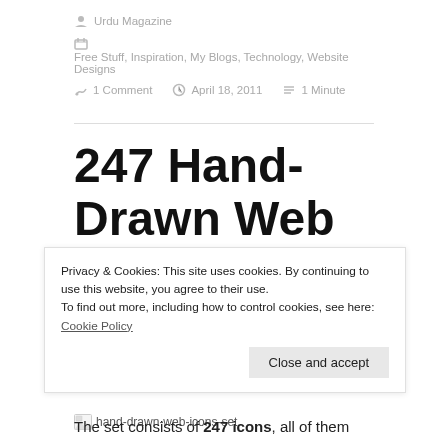Urdu Magazine
Free Stuff, Inspiration, My Blogs, Technology, Website Designs
1 Comment   April 18, 2011   1 Minute
247 Hand-Drawn Web Icon Set Free Download
[Figure (photo): Broken image placeholder labeled 'hand-drawn-web-icons-set']
Privacy & Cookies: This site uses cookies. By continuing to use this website, you agree to their use.
To find out more, including how to control cookies, see here: Cookie Policy
The set consists of 247 icons, all of them designed in